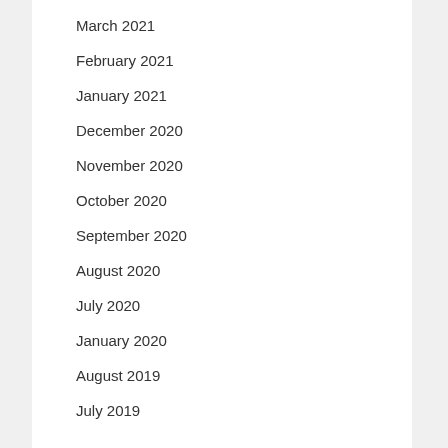March 2021
February 2021
January 2021
December 2020
November 2020
October 2020
September 2020
August 2020
July 2020
January 2020
August 2019
July 2019